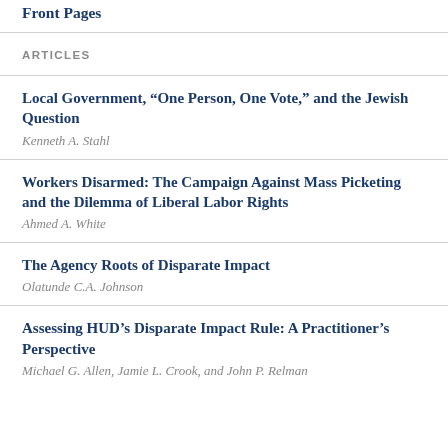Front Pages
ARTICLES
Local Government, “One Person, One Vote,” and the Jewish Question
Kenneth A. Stahl
Workers Disarmed: The Campaign Against Mass Picketing and the Dilemma of Liberal Labor Rights
Ahmed A. White
The Agency Roots of Disparate Impact
Olatunde C.A. Johnson
Assessing HUD’s Disparate Impact Rule: A Practitioner’s Perspective
Michael G. Allen, Jamie L. Crook, and John P. Relman